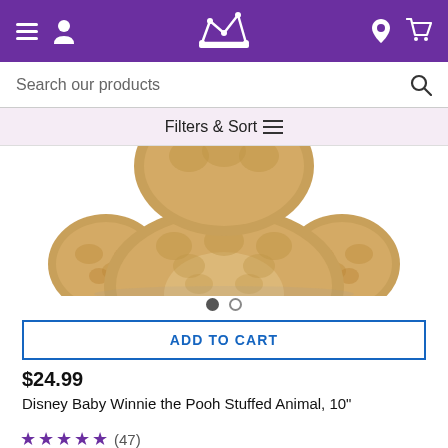Navigation bar with hamburger menu, user icon, crown logo, location icon, cart icon
Search our products
Filters & Sort
[Figure (photo): Close-up photo of a tan/golden fluffy stuffed animal bear (Winnie the Pooh), showing the upper body and arms from above, white background]
ADD TO CART
$24.99
Disney Baby Winnie the Pooh Stuffed Animal, 10"
★★★★★ (47)